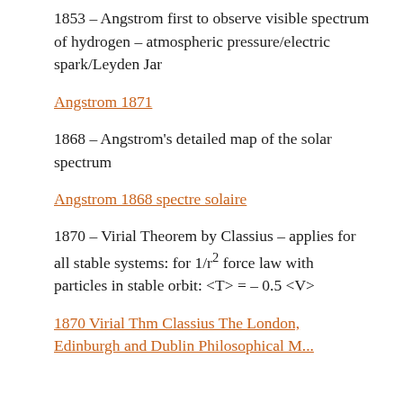1853 – Angstrom first to observe visible spectrum of hydrogen – atmospheric pressure/electric spark/Leyden Jar
Angstrom 1871
1868 – Angstrom's detailed map of the solar spectrum
Angstrom 1868 spectre solaire
1870 – Virial Theorem by Classius – applies for all stable systems: for 1/r² force law with particles in stable orbit: <T> = – 0.5 <V>
1870 Virial Thm Classius The London, Edinburgh and Dublin Philosophical Magazine...